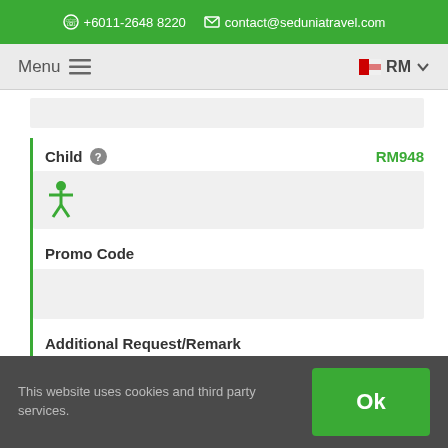☎ +6011-2648 8220  ✉ contact@seduniatravel.com
Menu ☰   🇲🇾 RM ∨
Child ⓘ   RM948
Promo Code
Additional Request/Remark
This website uses cookies and third party services.
Ok